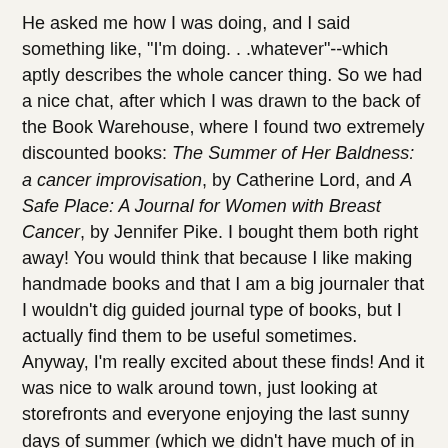He asked me how I was doing, and I said something like, "I'm doing. . .whatever"--which aptly describes the whole cancer thing. So we had a nice chat, after which I was drawn to the back of the Book Warehouse, where I found two extremely discounted books: The Summer of Her Baldness: a cancer improvisation, by Catherine Lord, and A Safe Place: A Journal for Women with Breast Cancer, by Jennifer Pike. I bought them both right away! You would think that because I like making handmade books and that I am a big journaler that I wouldn't dig guided journal type of books, but I actually find them to be useful sometimes. Anyway, I'm really excited about these finds! And it was nice to walk around town, just looking at storefronts and everyone enjoying the last sunny days of summer (which we didn't have much of in Vancouver this year).
Then I came home. To my parents and kids (Dude is in LA, and I wish I had gone with him, taken the risk). My parents, of course, are concerned about me and came all the way from Pennsylvania last week to help out for a couple months. But what I don't really dig is being treated like a complete invalid. At the moment, I'm feeling completely fine,